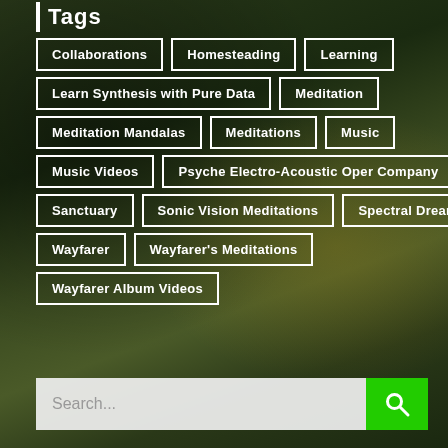Tags
Collaborations
Homesteading
Learning
Learn Synthesis with Pure Data
Meditation
Meditation Mandalas
Meditations
Music
Music Videos
Psyche Electro-Acoustic Oper Company
Sanctuary
Sonic Vision Meditations
Spectral Dreams
Wayfarer
Wayfarer's Meditations
Wayfarer Album Videos